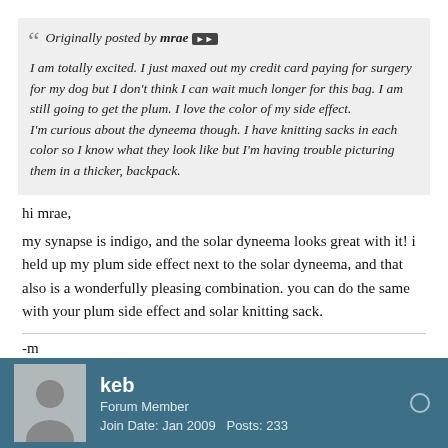Originally posted by mrae [>>]
I am totally excited. I just maxed out my credit card paying for surgery for my dog but I don't think I can wait much longer for this bag. I am still going to get the plum. I love the color of my side effect.
I'm curious about the dyneema though. I have knitting sacks in each color so I know what they look like but I'm having trouble picturing them in a thicker, backpack.
hi mrae,
my synapse is indigo, and the solar dyneema looks great with it! i held up my plum side effect next to the solar dyneema, and that also is a wonderfully pleasing combination. you can do the same with your plum side effect and solar knitting sack.
-m
keb
Forum Member
Join Date: Jan 2009   Posts: 233